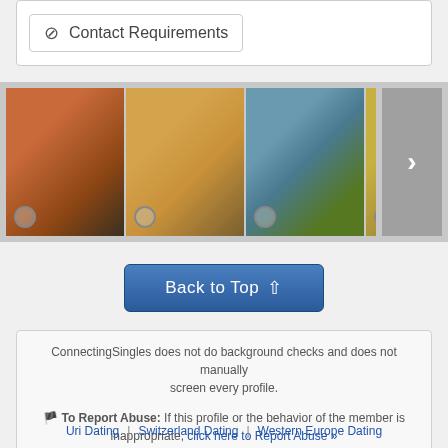🚫 Contact Requirements
[Figure (photo): Horizontal photo strip showing 6 profile photos of people with a right-arrow navigation button on the right side]
Back to Top ↑
ConnectingSingles does not do background checks and does not manually screen every profile. 🚩 To Report Abuse: If this profile or the behavior of the member is inappropriate, click here to Report Abuse »
Uri Dating
Switzerland Dating
Western Europe Dating